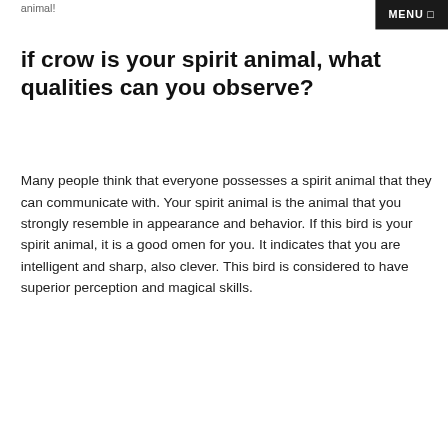animal!
MENU □
if crow is your spirit animal, what qualities can you observe?
Many people think that everyone possesses a spirit animal that they can communicate with. Your spirit animal is the animal that you strongly resemble in appearance and behavior. If this bird is your spirit animal, it is a good omen for you. It indicates that you are intelligent and sharp, also clever. This bird is considered to have superior perception and magical skills.
[Figure (other): Advertisement banner: red circle with 'Get back to BIG' text, alongside product images and text 'Get back to being proactive about your health']
[Figure (other): CVS Pharmacy advertisement: CVS logo, 'Get Back To Routine With CVS®', 'CVS Pharmacy' text with blue navigation arrow icon]